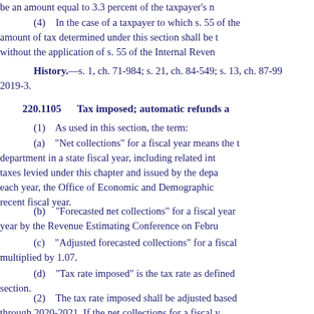be an amount equal to 3.3 percent of the taxpayer's n
(4)    In the case of a taxpayer to which s. 55 of the amount of tax determined under this section shall be t without the application of s. 55 of the Internal Reven
History.—s. 1, ch. 71-984; s. 21, ch. 84-549; s. 13, ch. 87-99 2019-3.
220.1105    Tax imposed; automatic refunds a
(1)    As used in this section, the term:
(a)    "Net collections" for a fiscal year means the t department in a state fiscal year, including related int taxes levied under this chapter and issued by the dep each year, the Office of Economic and Demographic recent fiscal year.
(b)    "Forecasted net collections" for a fiscal year year by the Revenue Estimating Conference on Febru
(c)    "Adjusted forecasted collections" for a fiscal multiplied by 1.07.
(d)    "Tax rate imposed" is the tax rate as defined section.
(2)    The tax rate imposed shall be adjusted based through 2020-2021. If the net collections for a fiscal y same fiscal year, the tax rate imposed for taxable yea